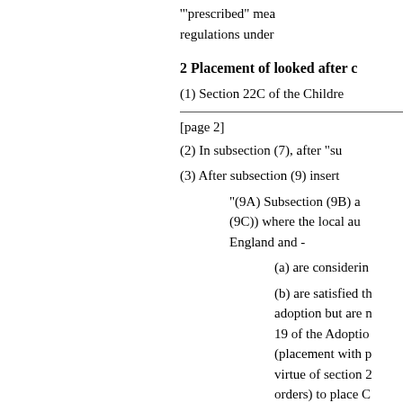"prescribed" mea regulations under
2 Placement of looked after c
(1) Section 22C of the Childre
[page 2]
(2) In subsection (7), after "su
(3) After subsection (9) insert
"(9A) Subsection (9B) a (9C)) where the local au England and -
(a) are considerin
(b) are satisfied th adoption but are n 19 of the Adoptio (placement with p virtue of section 2 orders) to place C